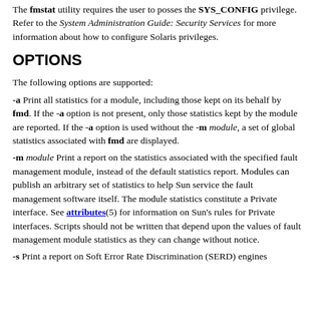The fmstat utility requires the user to posses the SYS_CONFIG privilege. Refer to the System Administration Guide: Security Services for more information about how to configure Solaris privileges.
OPTIONS
The following options are supported:
-a Print all statistics for a module, including those kept on its behalf by fmd. If the -a option is not present, only those statistics kept by the module are reported. If the -a option is used without the -m module, a set of global statistics associated with fmd are displayed.
-m module Print a report on the statistics associated with the specified fault management module, instead of the default statistics report. Modules can publish an arbitrary set of statistics to help Sun service the fault management software itself. The module statistics constitute a Private interface. See attributes(5) for information on Sun's rules for Private interfaces. Scripts should not be written that depend upon the values of fault management module statistics as they can change without notice.
-s Print a report on Soft Error Rate Discrimination (SERD) engines